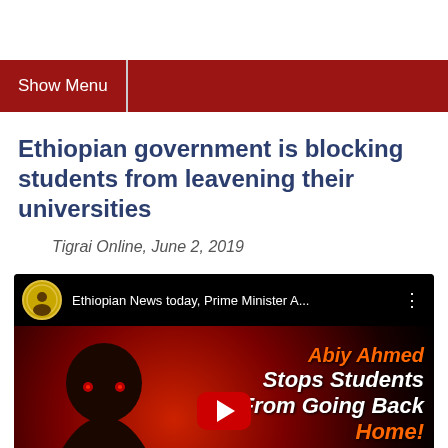Show Menu
Ethiopian government is blocking students from leavening their universities
Tigrai Online, June 2, 2019
[Figure (screenshot): YouTube video thumbnail: Ethiopian News today, Prime Minister A... with text 'Abiy Ahmed Stops Students From Going Back Home!' overlaid on a dark red dramatic image of a man's face with glowing red eyes, with a YouTube play button in the center.]